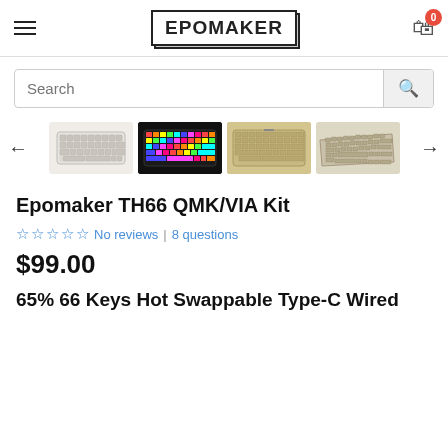EPOMAKER
[Figure (screenshot): Search bar with magnifying glass icon]
[Figure (photo): Product image carousel showing 4 keyboard images (white keyboard, RGB lit keyboard, gold/beige keyboard, angled PCB view) with left and right navigation arrows]
Epomaker TH66 QMK/VIA Kit
No reviews | 8 questions
$99.00
65% 66 Keys Hot Swappable Type-C Wired